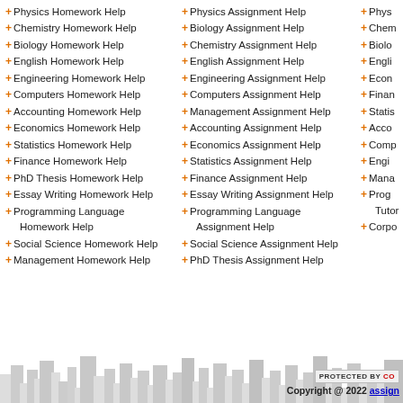Physics Homework Help
Chemistry Homework Help
Biology Homework Help
English Homework Help
Engineering Homework Help
Computers Homework Help
Accounting Homework Help
Economics Homework Help
Statistics Homework Help
Finance Homework Help
PhD Thesis Homework Help
Essay Writing Homework Help
Programming Language Homework Help
Social Science Homework Help
Management Homework Help
Physics Assignment Help
Biology Assignment Help
Chemistry Assignment Help
English Assignment Help
Engineering Assignment Help
Computers Assignment Help
Management Assignment Help
Accounting Assignment Help
Economics Assignment Help
Statistics Assignment Help
Finance Assignment Help
Essay Writing Assignment Help
Programming Language Assignment Help
Social Science Assignment Help
PhD Thesis Assignment Help
Phys...
Chem...
Biolo...
Engli...
Econ...
Finan...
Statis...
Acco...
Comp...
Engi...
Mana...
Prog... Tutor...
Corpo...
PROTECTED BY CO  Copyright @ 2022 assign...